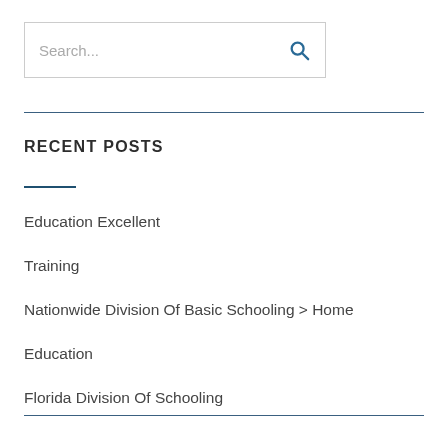Search...
RECENT POSTS
Education Excellent
Training
Nationwide Division Of Basic Schooling > Home
Education
Florida Division Of Schooling